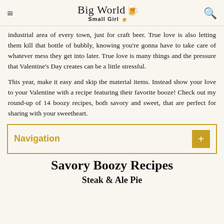Big World Small Girl
industrial area of every town, just for craft beer. True love is also letting them kill that bottle of bubbly, knowing you're gonna have to take care of whatever mess they get into later. True love is many things and the pressure that Valentine's Day creates can be a little stressful.
This year, make it easy and skip the material items. Instead show your love to your Valentine with a recipe featuring their favorite booze! Check out my round-up of 14 boozy recipes, both savory and sweet, that are perfect for sharing with your sweetheart.
Navigation
Savory Boozy Recipes
Steak & Ale Pie